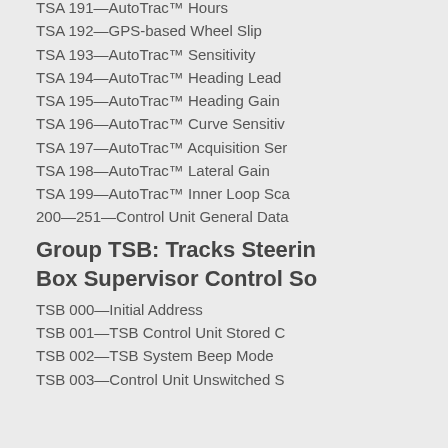TSA 191—AutoTrac™ Hours
TSA 192—GPS-based Wheel Slip
TSA 193—AutoTrac™ Sensitivity
TSA 194—AutoTrac™ Heading Lead
TSA 195—AutoTrac™ Heading Gain
TSA 196—AutoTrac™ Curve Sensitiv...
TSA 197—AutoTrac™ Acquisition Se...
TSA 198—AutoTrac™ Lateral Gain
TSA 199—AutoTrac™ Inner Loop Sca...
200—251—Control Unit General Data
Group TSB: Tracks Steerin Box Supervisor Control So
TSB 000—Initial Address
TSB 001—TSB Control Unit Stored C...
TSB 002—TSB System Beep Mode
TSB 003—Control Unit Unswitched S...